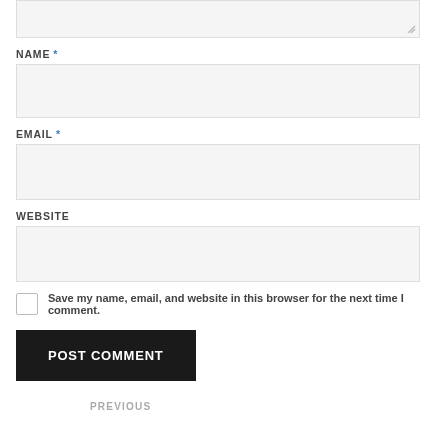[Figure (screenshot): Textarea input box (comment field), partially visible at top of page, with resize handle]
NAME *
[Figure (screenshot): Name input field, empty, light gray background]
EMAIL *
[Figure (screenshot): Email input field, empty, light gray background]
WEBSITE
[Figure (screenshot): Website input field, empty, light gray background]
Save my name, email, and website in this browser for the next time I comment.
POST COMMENT
PREVIOUS